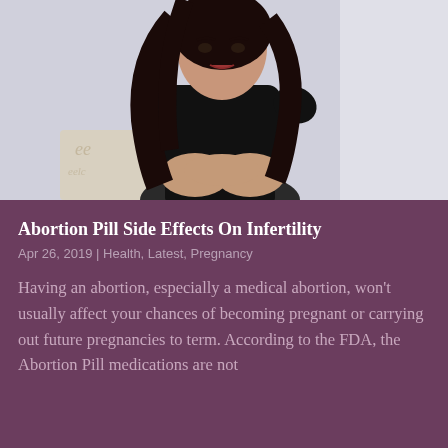[Figure (photo): A young woman with long dark hair wearing a black top, sitting with her knees drawn up and hands clasped, looking pensively at camera against a light grey background]
Abortion Pill Side Effects On Infertility
Apr 26, 2019 | Health, Latest, Pregnancy
Having an abortion, especially a medical abortion, won't usually affect your chances of becoming pregnant or carrying out future pregnancies to term. According to the FDA, the Abortion Pill medications are not considered harmful to future fertility but...